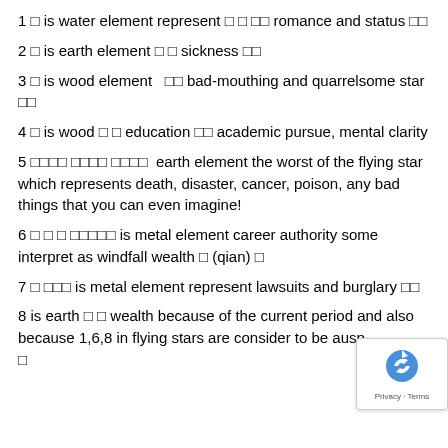1 □ is water element represent □ □ □□ romance and status □□
2 □ is earth element □ □ sickness □□
3 □ is wood element  □□ bad-mouthing and quarrelsome star □□
4 □ is wood □ □ education □□ academic pursue, mental clarity
5 □□□□ □□□□ □□□□  earth element the worst of the flying star which represents death, disaster, cancer, poison, any bad things that you can even imagine!
6 □ □ □ □□□□□ is metal element career authority some interpret as windfall wealth □ (qian) □
7 □ □□□ is metal element represent lawsuits and burglary □□
8 is earth □ □ wealth because of the current period and also because 1,6,8 in flying stars are consider to be ausp□ □
9 is fire element…